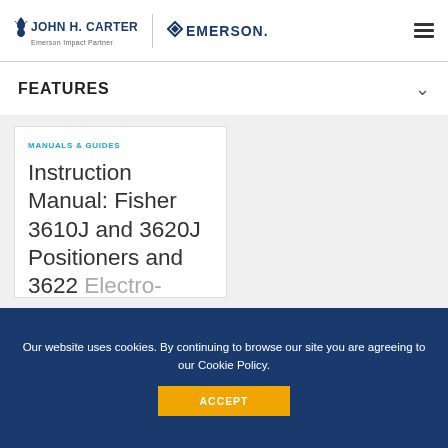JOHN H. CARTER | Emerson Impact Partner | EMERSON.
FEATURES
MANUALS & GUIDES
Instruction Manual: Fisher 3610J and 3620J Positioners and 3622 Electro-
Our website uses cookies. By continuing to browse our site you are agreeing to our Cookie Policy.
ACCEPT